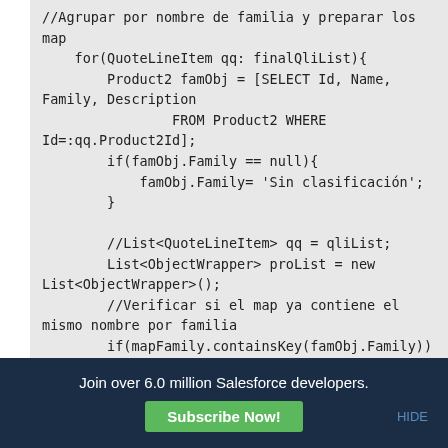[Figure (screenshot): Code block showing Apex/Salesforce code snippet with Spanish comments. Contains a for loop over finalQliList, SOQL query for Product2, null check for Family field, List<ObjectWrapper> initialization, and map containsKey check.]
Join over 6.0 million Salesforce developers.
Subscribe Now!
HIDE